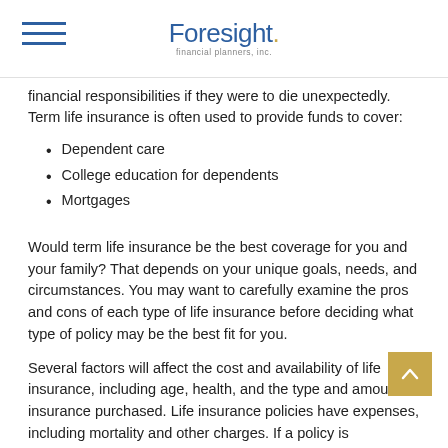Foresight financial planners, inc.
financial responsibilities if they were to die unexpectedly. Term life insurance is often used to provide funds to cover:
Dependent care
College education for dependents
Mortgages
Would term life insurance be the best coverage for you and your family? That depends on your unique goals, needs, and circumstances. You may want to carefully examine the pros and cons of each type of life insurance before deciding what type of policy may be the best fit for you.
Several factors will affect the cost and availability of life insurance, including age, health, and the type and amount of insurance purchased. Life insurance policies have expenses, including mortality and other charges. If a policy is surrendered prematurely, the policyholder also may pay